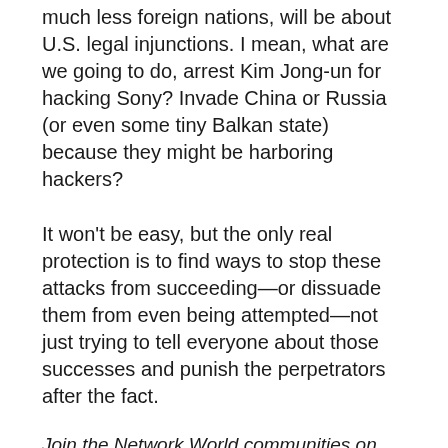much less foreign nations, will be about U.S. legal injunctions. I mean, what are we going to do, arrest Kim Jong-un for hacking Sony? Invade China or Russia (or even some tiny Balkan state) because they might be harboring hackers?
It won't be easy, but the only real protection is to find ways to stop these attacks from succeeding—or dissuade them from even being attempted—not just trying to tell everyone about those successes and punish the perpetrators after the fact.
Join the Network World communities on Facebook and LinkedIn to comment on topics that are top of mind.
Related: Security